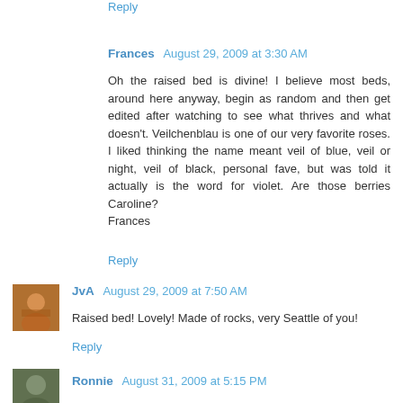Reply
Frances  August 29, 2009 at 3:30 AM
Oh the raised bed is divine! I believe most beds, around here anyway, begin as random and then get edited after watching to see what thrives and what doesn't. Veilchenblau is one of our very favorite roses. I liked thinking the name meant veil of blue, veil or night, veil of black, personal fave, but was told it actually is the word for violet. Are those berries Caroline?
Frances
Reply
JvA  August 29, 2009 at 7:50 AM
Raised bed! Lovely! Made of rocks, very Seattle of you!
Reply
Ronnie  August 31, 2009 at 5:15 PM